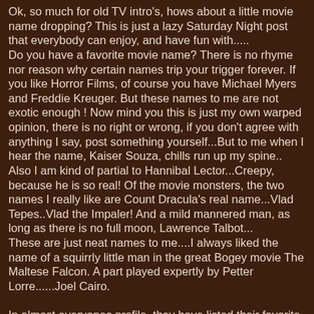Ok, so much for old TV intro's, hows about a little movie name dropping? This is just a lazy Saturday Night post that everybody can enjoy, and have fun with.....
Do you have a favorite movie name? There is no rhyme nor reason why certain names trip your trigger forever. If you like Horror Films, of course you have Michael Myers and Freddie Kreuger. But these names to me are not exotic enough ! Now mind you this is just my own warped opinion, there is no right or wrong, if you don't agree with anything I say, post something yourself...But to me when I hear the name, Kaiser Souza, chills run up my spine..
Also I am kind of partial to Hannibal Lector...Creepy, because he is so real! Of the movie monsters, the two names I really like are Count Dracula's real name...Vlad Tepes..Vlad the Impaler! And a mild mannered man, as long as there is no full moon, Lawrence Talbot...
These are just neat names to me....I always liked the name of a squirrly little man in the great Bogey movie The Maltese Falcon. A part played expertly by Petter Lorre......Joel Cairo.

In almost everyones profile, they have listed their favorite movies. In my profile I have listed Jeremiah Johnson. I love